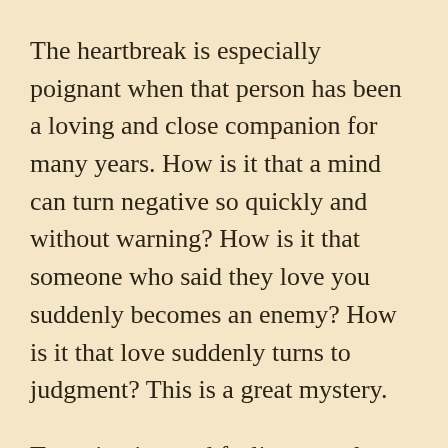The heartbreak is especially poignant when that person has been a loving and close companion for many years. How is it that a mind can turn negative so quickly and without warning? How is it that someone who said they love you suddenly becomes an enemy? How is it that love suddenly turns to judgment? This is a great mystery.
To maintain good feeling sounds simple, but after all these years of